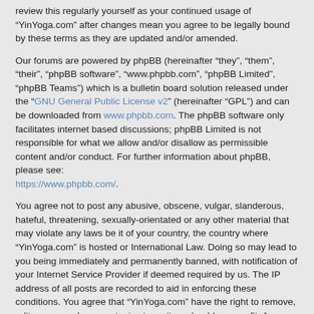review this regularly yourself as your continued usage of “YinYoga.com” after changes mean you agree to be legally bound by these terms as they are updated and/or amended.
Our forums are powered by phpBB (hereinafter “they”, “them”, “their”, “phpBB software”, “www.phpbb.com”, “phpBB Limited”, “phpBB Teams”) which is a bulletin board solution released under the “GNU General Public License v2” (hereinafter “GPL”) and can be downloaded from www.phpbb.com. The phpBB software only facilitates internet based discussions; phpBB Limited is not responsible for what we allow and/or disallow as permissible content and/or conduct. For further information about phpBB, please see: https://www.phpbb.com/.
You agree not to post any abusive, obscene, vulgar, slanderous, hateful, threatening, sexually-orientated or any other material that may violate any laws be it of your country, the country where “YinYoga.com” is hosted or International Law. Doing so may lead to you being immediately and permanently banned, with notification of your Internet Service Provider if deemed required by us. The IP address of all posts are recorded to aid in enforcing these conditions. You agree that “YinYoga.com” have the right to remove, edit, move or close any topic at any time should we see fit. As a user you agree to any information you have entered to being stored in a database. While this information will not be disclosed to any third party without your consent, neither “YinYoga.com” nor phpBB shall be held responsible for any hacking attempt that may lead to the data being compromised.